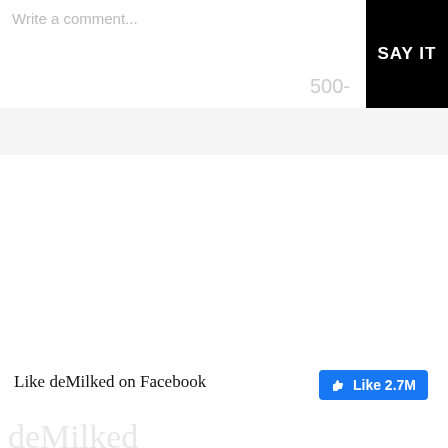Write a comment...
500-
SAY IT
Like deMilked on Facebook
[Figure (other): Facebook Like button showing 2.7M likes]